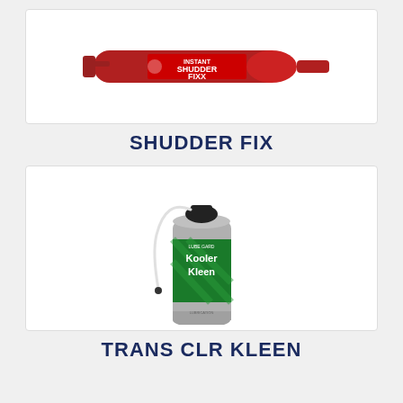[Figure (photo): Red tube/syringe product labeled 'Instant Shudder Fixx' on white background]
SHUDDER FIX
[Figure (photo): Silver aerosol spray can with green label reading 'Lube Gard Kooler Kleen' with a straw/extension tube attached, on white background]
TRANS CLR KLEEN